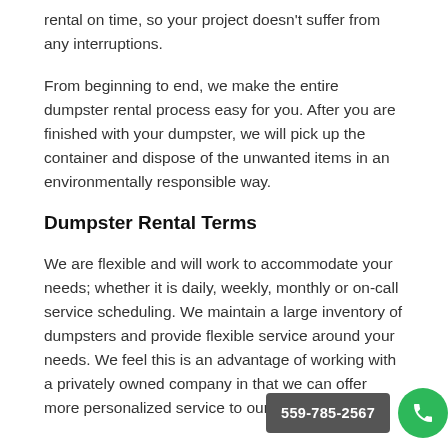rental on time, so your project doesn't suffer from any interruptions.
From beginning to end, we make the entire dumpster rental process easy for you. After you are finished with your dumpster, we will pick up the container and dispose of the unwanted items in an environmentally responsible way.
Dumpster Rental Terms
We are flexible and will work to accommodate your needs; whether it is daily, weekly, monthly or on-call service scheduling. We maintain a large inventory of dumpsters and provide flexible service around your needs. We feel this is an advantage of working with a privately owned company in that we can offer more personalized service to our customers.
We can offer excellent references upon request. Fresno